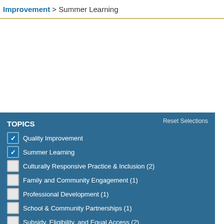Improvement > Summer Learning
TOPICS
Quality Improvement (checked)
Summer Learning (checked)
Culturally Responsive Practice & Inclusion (2)
Family and Community Engagement (1)
Professional Development (1)
School & Community Partnerships (1)
Subsidy, Eligibility, and Equal Access (2)
Systems Building (3)
RESOURCE TYPE
Report (checked)
Infographic (1)